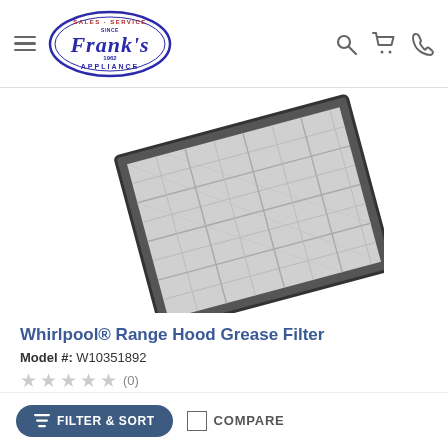Frank's Appliance - Sales Service Since 1962
[Figure (photo): Whirlpool Range Hood Grease Filter product photo showing a metallic filter at an angle]
Whirlpool® Range Hood Grease Filter
Model #: W10351892
★★★★★ (0)
Call for Best Price
VIEW
FILTER & SORT
COMPARE